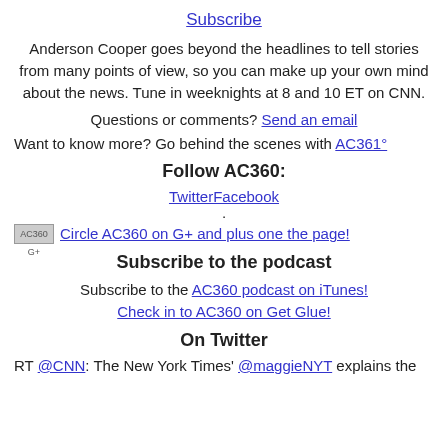Subscribe
Anderson Cooper goes beyond the headlines to tell stories from many points of view, so you can make up your own mind about the news. Tune in weeknights at 8 and 10 ET on CNN.
Questions or comments? Send an email
Want to know more? Go behind the scenes with AC361°
Follow AC360:
TwitterFacebook
.
AC360 G+ Circle AC360 on G+ and plus one the page!
Subscribe to the podcast
Subscribe to the AC360 podcast on iTunes! Check in to AC360 on Get Glue!
On Twitter
RT @CNN: The New York Times' @maggieNYT explains the